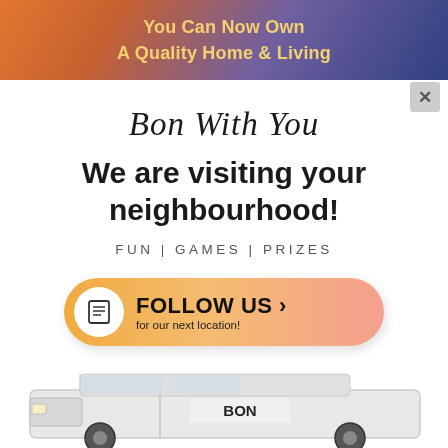[Figure (infographic): Top banner with gradient background (orange to dark blue/purple) containing text 'You Can Now Own A Quality Home & Living' in golden/yellow bold text]
×
Bon With You
We are visiting your neighbourhood!
FUN | GAMES | PRIZES
[Figure (infographic): Orange gradient pill-shaped button with document icon on left circle, text 'FOLLOW US >' and subtext 'for our next location!']
[Figure (photo): Bottom portion of a white branded van with 'BON' logo visible on the side]